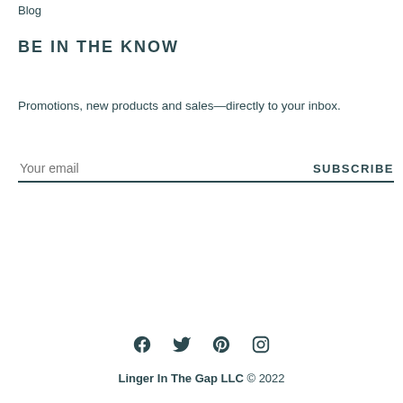Blog
BE IN THE KNOW
Promotions, new products and sales—directly to your inbox.
Your email  SUBSCRIBE
[Figure (infographic): Social media icons: Facebook, Twitter, Pinterest, Instagram]
Linger In The Gap LLC © 2022